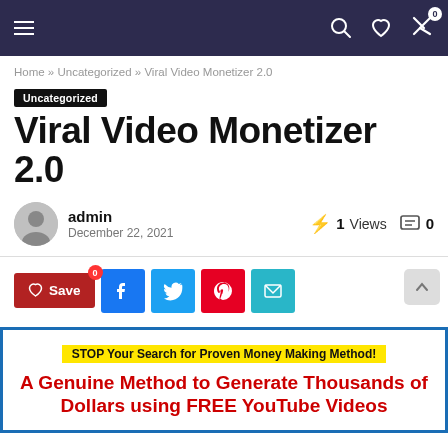Navigation bar with hamburger menu, search, heart, and cart icons
Home » Uncategorized » Viral Video Monetizer 2.0
Uncategorized
Viral Video Monetizer 2.0
admin
December 22, 2021
1 Views
0
[Figure (other): Social share buttons: Save (heart), Facebook, Twitter, Pinterest, Email]
[Figure (infographic): Promotional banner: STOP Your Search for Proven Money Making Method! A Genuine Method to Generate Thousands of Dollars using FREE YouTube Videos]